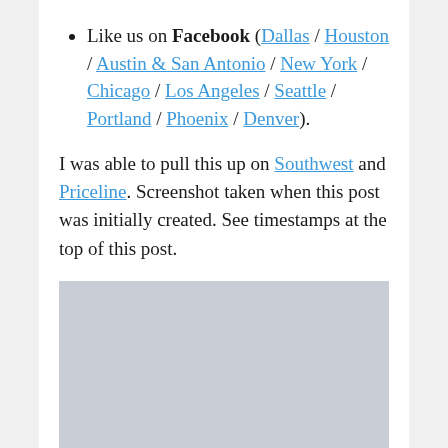Like us on Facebook (Dallas / Houston / Austin & San Antonio / New York / Chicago / Los Angeles / Seattle / Portland / Phoenix / Denver).
I was able to pull this up on Southwest and Priceline. Screenshot taken when this post was initially created. See timestamps at the top of this post.
[Figure (screenshot): A grey/silver placeholder screenshot image area]